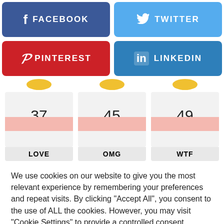[Figure (infographic): Social share buttons: Facebook (blue), Twitter (light blue), Pinterest (red), LinkedIn (medium blue)]
[Figure (infographic): Three reaction cards showing numbers 37 (LOVE), 45 (OMG), 49 (WTF) with emoji icons and pink bars]
We use cookies on our website to give you the most relevant experience by remembering your preferences and repeat visits. By clicking "Accept All", you consent to the use of ALL the cookies. However, you may visit "Cookie Settings" to provide a controlled consent.
Cookie Settings | Accept All